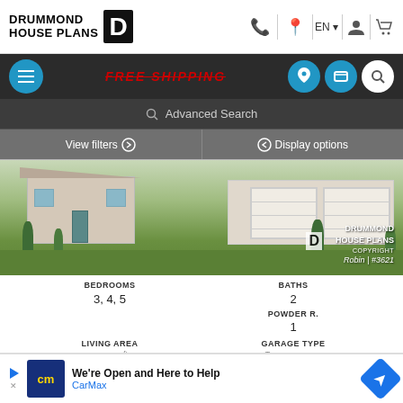DRUMMOND HOUSE PLANS
FREE SHIPPING
Advanced Search
View filters ➔
Display options
[Figure (photo): Exterior photo of a modern one-story house with two-car garage and landscaping. Drummond House Plans watermark with 'Robin | #3621' label.]
| BEDROOMS | BATHS |
| --- | --- |
| 3, 4, 5 | 2 |
|  | POWDER R. |
|  | 1 |
| LIVING AREA | GARAGE TYPE |
|  | Two-car garage |
[Figure (other): CarMax advertisement banner: 'We're Open and Here to Help' with CarMax logo and blue arrow button.]